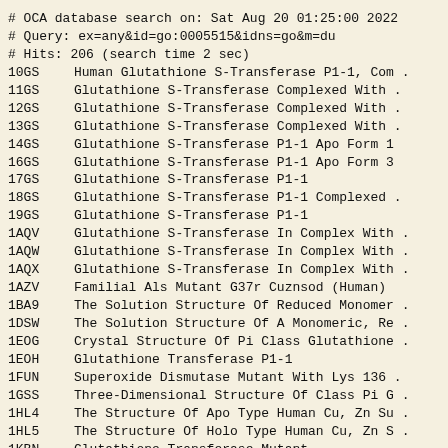# OCA database search on: Sat Aug 20 01:25:00 2022
# Query: ex=any&id=go:0005515&idns=go&m=du
# Hits: 206 (search time 2 sec)
| ID | Description |
| --- | --- |
| 10GS | Human Glutathione S-Transferase P1-1, Com . |
| 11GS | Glutathione S-Transferase Complexed With . |
| 12GS | Glutathione S-Transferase Complexed With . |
| 13GS | Glutathione S-Transferase Complexed With . |
| 14GS | Glutathione S-Transferase P1-1 Apo Form 1 |
| 16GS | Glutathione S-Transferase P1-1 Apo Form 3 |
| 17GS | Glutathione S-Transferase P1-1 |
| 18GS | Glutathione S-Transferase P1-1 Complexed . |
| 19GS | Glutathione S-Transferase P1-1 |
| 1AQV | Glutathione S-Transferase In Complex With . |
| 1AQW | Glutathione S-Transferase In Complex With . |
| 1AQX | Glutathione S-Transferase In Complex With . |
| 1AZV | Familial Als Mutant G37r Cuznsod (Human) |
| 1BA9 | The Solution Structure Of Reduced Monomer . |
| 1DSW | The Solution Structure Of A Monomeric, Re . |
| 1EOG | Crystal Structure Of Pi Class Glutathione . |
| 1EOH | Glutathione Transferase P1-1 |
| 1FUN | Superoxide Dismutase Mutant With Lys 136 . |
| 1GSS | Three-Dimensional Structure Of Class Pi G . |
| 1HL4 | The Structure Of Apo Type Human Cu, Zn Su . |
| 1HL5 | The Structure Of Holo Type Human Cu, Zn S . |
| 1KBN | Glutathione Transferase Mutant |
| 1KMG | The Solution Structure Of Monomeric Coppe . |
| 1L3N | The Solution Structure Of Reduced Dimeric . |
| 1LBK | Crystal Structure Of A Recombinant Glutat |